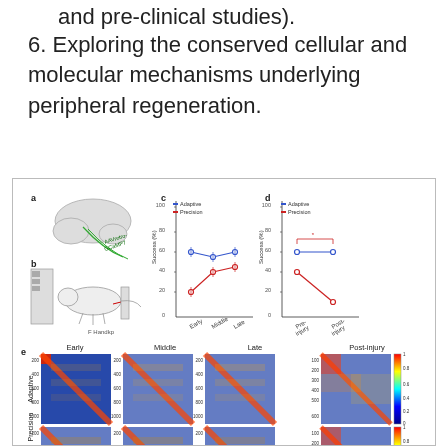and pre-clinical studies).
6. Exploring the conserved cellular and molecular mechanisms underlying peripheral regeneration.
[Figure (illustration): Scientific figure showing: (a) mouse brain illustration with AAVretro-GCaMP7 injection schematic; (b) experimental apparatus with mouse performing reaching task (Handkp label); (c) line chart titled Success (%) vs Early/Middle/Late for Adaptive (blue) and Precision (red) groups, values roughly Adaptive ~60% and Precision rising ~25 to 45%; (d) line chart Success (%) vs Pre-injury and Post-injury for Adaptive (blue ~60%) and Precision (red dropping from ~45% to ~15%); (e) heatmap correlation matrices for Adaptive (row 1) and Precision (row 2) across Early, Middle, Late, and Post-injury sessions, showing warm diagonal structure, with colorbar 0–1.]